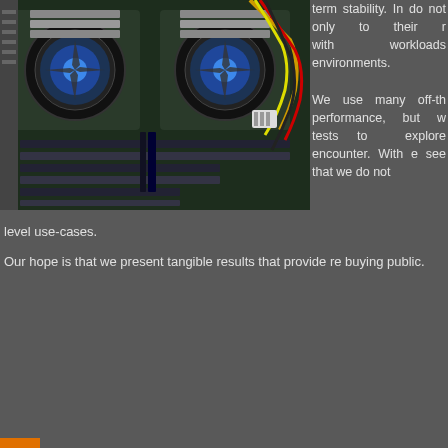[Figure (photo): Interior of a server or workstation computer showing dual CPU heatsinks with blue LED fans, RAM slots, PCIe expansion slots, and colorful power cables on a motherboard]
term stability. In do not only to their r with workloads environments.
We use many off-th performance, but w tests to explore encounter. With e see that we do not
level use-cases.
Our hope is that we present tangible results that provide re buying public.